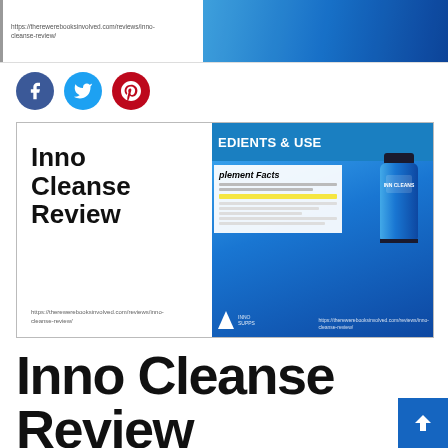[Figure (screenshot): Partial top banner of Inno Cleanse review article showing URL and blue product image on right]
[Figure (infographic): Social media share buttons: Facebook (blue), Twitter (light blue), Pinterest (red)]
[Figure (screenshot): Main banner image for Inno Cleanse Review article with white left side showing bold title text and blue right side showing supplement facts and product bottle]
Inno Cleanse Review